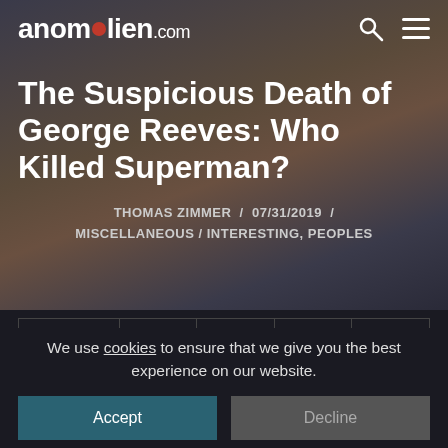anomalien.com
The Suspicious Death of George Reeves: Who Killed Superman?
THOMAS ZIMMER / 07/31/2019 / MISCELLANEOUS / INTERESTING, PEOPLES
[Figure (infographic): Social share bar with share count 1.1K and icons for Facebook, Twitter, Pinterest, Reddit]
We use cookies to ensure that we give you the best experience on our website.
Accept / Decline buttons